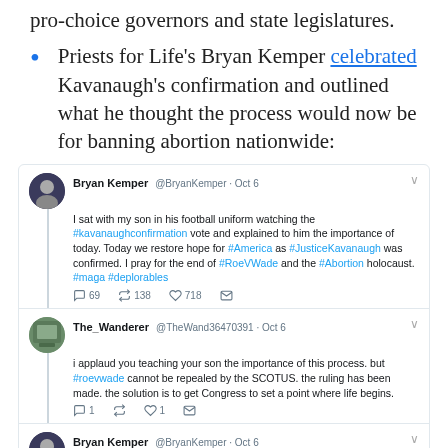pro-choice governors and state legislatures.
Priests for Life's Bryan Kemper celebrated Kavanaugh's confirmation and outlined what he thought the process would now be for banning abortion nationwide:
[Figure (screenshot): Screenshot of a Twitter thread. Bryan Kemper @BryanKemper Oct 6: 'I sat with my son in his football uniform watching the #kavanaughconfirmation vote and explained to him the importance of today. Today we restore hope for #America as #JusticeKavanaugh was confirmed. I pray for the end of #RoeVWade and the #Abortion holocaust. #maga #deplorables' — 69 replies, 138 retweets, 718 likes. The_Wanderer @TheWand36470391 Oct 6: 'i applaud you teaching your son the importance of this process. but #roevwade cannot be repealed by the SCOTUS. the ruling has been made. the solution is to get Congress to set a point where life begins.' — 1 reply, retweet, 1 like. Bryan Kemper @BryanKemper Oct 6: 'Actually it can be overturned as many cases have.' — 1 reply, retweet, 2 likes. The_Wanderer @TheWand36470391 Oct 6: 'How? More importantly, why? just set a damned limit like many states have. Define what a human is in law and be done with the issue. Overturning']